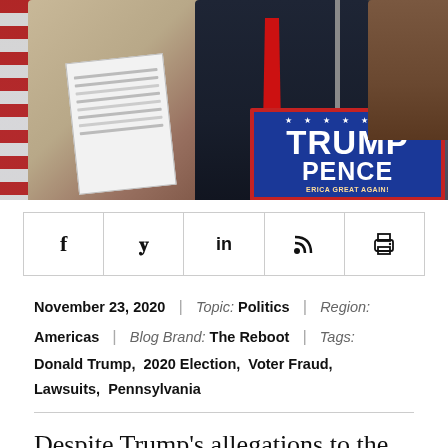[Figure (photo): Press conference with Trump-Pence campaign sign visible; a woman holds papers on the left, a man in a dark suit with red tie stands at a microphone in the center, American flag in background]
f  ʸ  in  ᴿˢˢ  🖨
November 23, 2020 | Topic: Politics | Region: Americas | Blog Brand: The Reboot | Tags: Donald Trump, 2020 Election, Voter Fraud, Lawsuits, Pennsylvania
Despite Trump's allegations to the contrary,